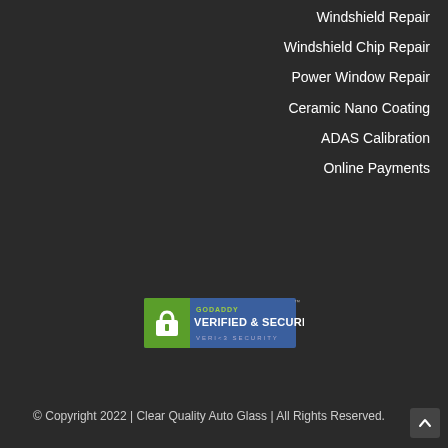Windshield Repair
Windshield Chip Repair
Power Window Repair
Ceramic Nano Coating
ADAS Calibration
Online Payments
[Figure (logo): GoDaddy Verified & Secured badge with padlock icon and text 'VERIFY SECURITY']
© Copyright 2022 | Clear Quality Auto Glass | All Rights Reserved.